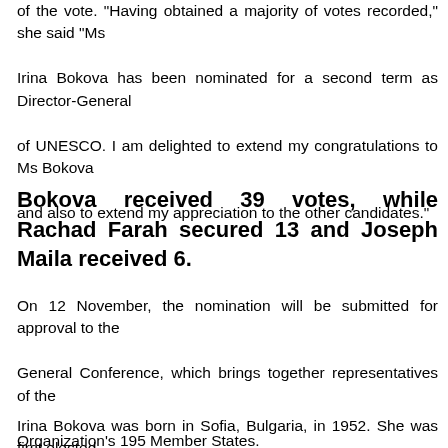of the vote. "Having obtained a majority of votes recorded," she said "Ms Irina Bokova has been nominated for a second term as Director-General of UNESCO. I am delighted to extend my congratulations to Ms Bokova and also to extend my appreciation to the other candidates."
Bokova received 39 votes, while Rachad Farah secured 13 and Joseph Maila received 6.
On 12 November, the nomination will be submitted for approval to the General Conference, which brings together representatives of the Organization's 195 Member States.
Irina Bokova was born in Sofia, Bulgaria, in 1952. She was first elected